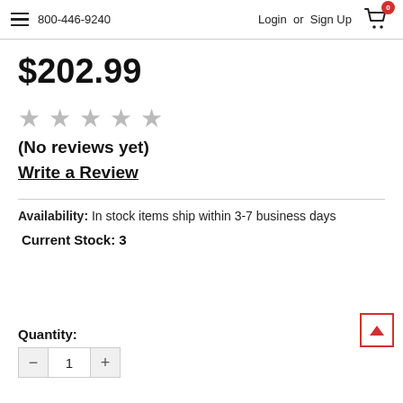800-446-9240  Login or Sign Up  [cart: 0]
$202.99
[Figure (other): Five empty/unfilled star rating icons]
(No reviews yet)
Write a Review
Availability:  In stock items ship within 3-7 business days
Current Stock: 3
Quantity: